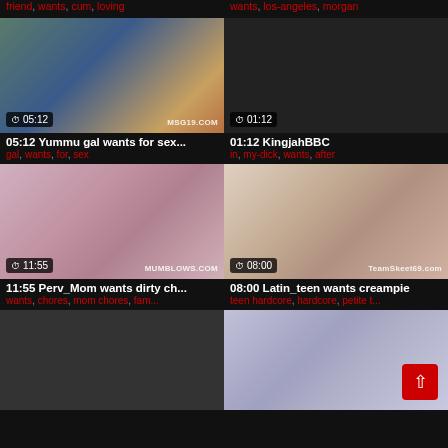friend, wants, cum, loving
wants, los-angeles, morgan
[Figure (photo): Video thumbnail: blonde woman, blue background, duration 05:12, watermark MSG19.COM]
05:12 Yummu gal wants for sex...
gal, wants, for, sex
[Figure (photo): Video thumbnail: dark/black, duration 01:12]
01:12 KingjahBBC
in, my-dick, wants, after
[Figure (photo): Video thumbnail: woman in pink dress, duration 11:55, watermark MUMBLOWS.COM]
11:55 Perv_Mom wants dirty ch...
wants, chores, mom chores, fam...
[Figure (photo): Video thumbnail: couple, duration 08:00, watermark TeamSkeet69.com]
08:00 Latin_teen wants creampie
teen hardcore, hardcore, petite t...
[Figure (photo): Video thumbnail: partial, bottom left]
[Figure (photo): Video thumbnail: partial, bottom right]